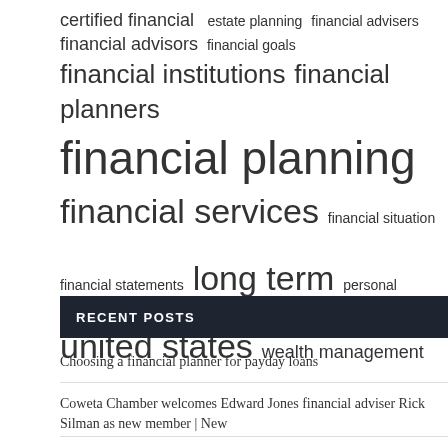[Figure (other): Tag cloud with financial terms in varying font sizes: certified financial, estate planning, financial advisers, financial advisors, financial goals, financial institutions, financial planners, financial planning, financial services, financial situation, financial statements, long term, personal finance, united states, wealth management]
RECENT POSTS
Choosing a financial planner for payday loans
Coweta Chamber welcomes Edward Jones financial adviser Rick Silman as new member | New